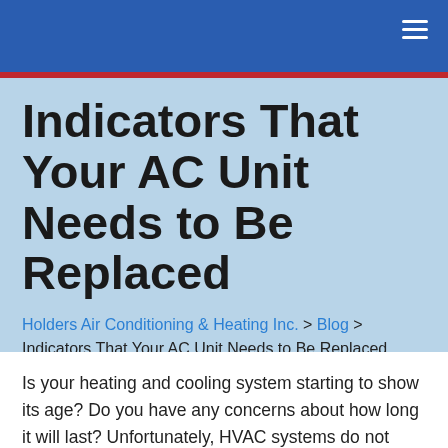Indicators That Your AC Unit Needs to Be Replaced
Holders Air Conditioning & Heating Inc. > Blog > Indicators That Your AC Unit Needs to Be Replaced
Is your heating and cooling system starting to show its age? Do you have any concerns about how long it will last? Unfortunately, HVAC systems do not endure indefinitely, and how you need to offer make your AC unit fail